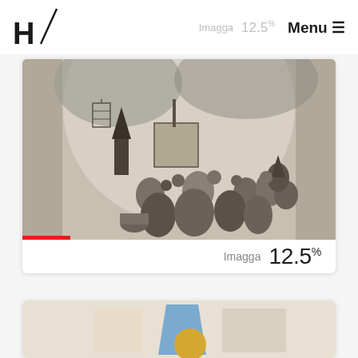H / Imagga 12.5% Menu ≡
[Figure (photo): Etching/engraving artwork showing a crowd scene with a figure in a pointed hat and long beard addressing a crowd, with a sign/board visible, set in a wooded outdoor scene with an arch frame]
Imagga 12.5%
[Figure (photo): Second artwork image partially visible at bottom, showing geometric shapes with blue and yellow tones]